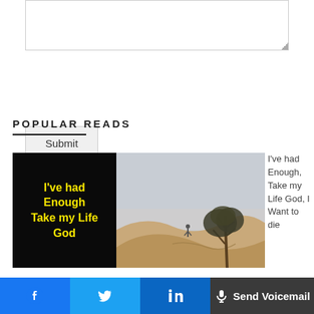[Figure (screenshot): Empty textarea input box with resize handle in bottom right corner]
Submit
POPULAR READS
[Figure (illustration): Two-panel image: left panel is black background with yellow bold text reading 'I've had Enough Take my Life God'; right panel is a desert photo with sand dunes, a lone tree, and a person standing on a dune]
I've had Enough, Take my Life God, I Want to die
[Figure (screenshot): Social sharing bar with Facebook, Twitter, LinkedIn buttons and a dark 'Send Voicemail' button with microphone icon]